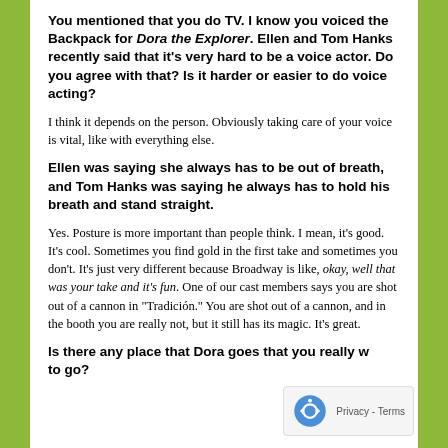You mentioned that you do TV. I know you voiced the Backpack for Dora the Explorer. Ellen and Tom Hanks recently said that it's very hard to be a voice actor. Do you agree with that? Is it harder or easier to do voice acting?
I think it depends on the person. Obviously taking care of your voice is vital, like with everything else.
Ellen was saying she always has to be out of breath, and Tom Hanks was saying he always has to hold his breath and stand straight.
Yes. Posture is more important than people think. I mean, it's good. It's cool. Sometimes you find gold in the first take and sometimes you don't. It's just very different because Broadway is like, okay, well that was your take and it's fun. One of our cast members says you are shot out of a cannon in "Tradición." You are shot out of a cannon, and in the booth you are really not, but it still has its magic. It's great.
Is there any place that Dora goes that you really w... to go?